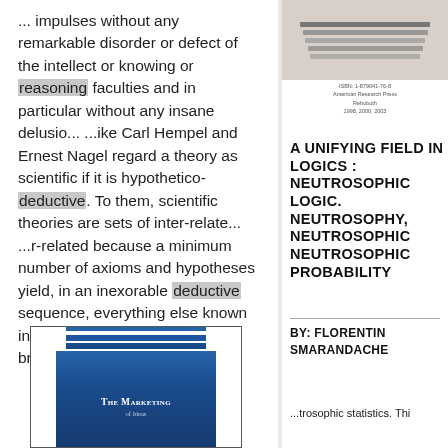... impulses without any remarkable disorder or defect of the intellect or knowing or reasoning faculties and in particular without any insane delusio... ...ike Carl Hempel and Ernest Nagel regard a theory as scientific if it is hypothetico-deductive. To them, scientific theories are sets of inter-relate... ...r-related because a minimum number of axioms and hypotheses yield, in an inexorable deductive sequence, everything else known in the field the theor... ...ith breadth,
[Figure (photo): Book cover thumbnail: 'THE MARKETING OF IDEAS' on a blue background]
[Figure (other): Top right: blurred text lines suggesting a book cover or publication header]
ISBN: 1-879041-76-8
American Research Press
Rehoboth
1998, 2000, 2003
A UNIFYING FIELD IN LOGICS : NEUTROSOPHIC LOGIC. NEUTROSOPHY, NEUTROSOPHIC NEUTROSOPHIC PROBABILITY
BY: FLORENTIN SMARANDACHE
...trosophic statistics. Thi